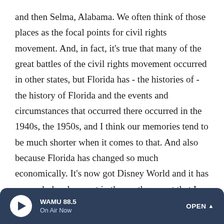and then Selma, Alabama. We often think of those places as the focal points for civil rights movement. And, in fact, it's true that many of the great battles of the civil rights movement occurred in other states, but Florida has - the histories of - the history of Florida and the events and circumstances that occurred there occurred in the 1940s, the 1950s, and I think our memories tend to be much shorter when it comes to that. And also because Florida has changed so much economically. It's now got Disney World and it has so much development in the southern part that I think that that's kind of overshadowed our vision and image of what that state really is.
CONAN: Isabel Wilkerson, author of "The Warmth of Other
WAMU 88.5 On Air Now OPEN